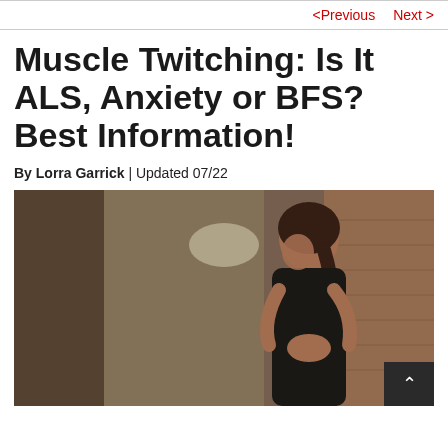< Previous   Next >
Muscle Twitching: Is It ALS, Anxiety or BFS? Best Information!
By Lorra Garrick | Updated 07/22
[Figure (photo): Young woman with braided dark hair leaning against a brick wall, hands clasped together near her face in a worried or anxious pose, wearing a black top. Background shows a blurred corridor.]